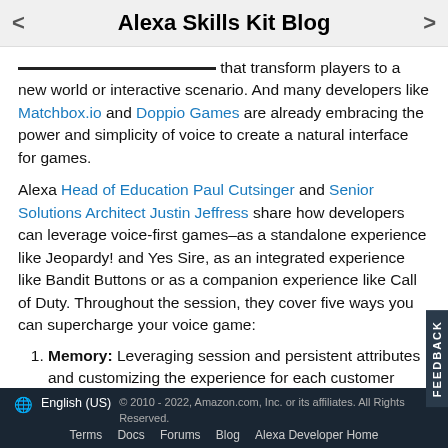Alexa Skills Kit Blog
leverage voice to create immersive experiences that transform players to a new world or interactive scenario. And many developers like Matchbox.io and Doppio Games are already embracing the power and simplicity of voice to create a natural interface for games.
Alexa Head of Education Paul Cutsinger and Senior Solutions Architect Justin Jeffress share how developers can leverage voice-first games–as a standalone experience like Jeopardy! and Yes Sire, as an integrated experience like Bandit Buttons or as a companion experience like Call of Duty. Throughout the session, they cover five ways you can supercharge your voice game:
Memory: Leveraging session and persistent attributes and customizing the experience for each customer
Cross-Device Integration: Designing for voice and
English (US)   © 2010 - 2022, Amazon.com, Inc. or its affiliates. All Rights Reserved.   Terms   Docs   Forums   Blog   Alexa Developer Home